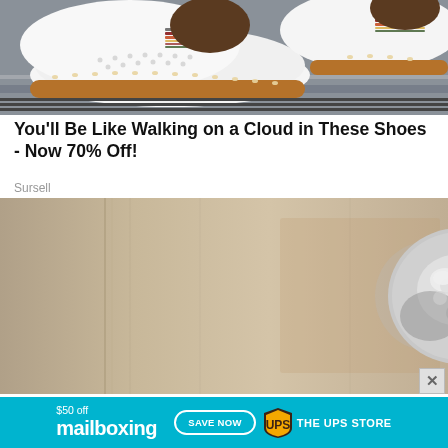[Figure (photo): Close-up photo of white slip-on shoes with colorful striped elastic band and perforated leather upper with brown stitching, worn on a gray surface]
You'll Be Like Walking on a Cloud in These Shoes - Now 70% Off!
Sursell
[Figure (photo): Close-up photo of an ornate silver lion head door knocker/knob on a light wood-colored door]
[Figure (photo): Banner advertisement: $50 off mailboxing SAVE NOW UPS THE UPS STORE]